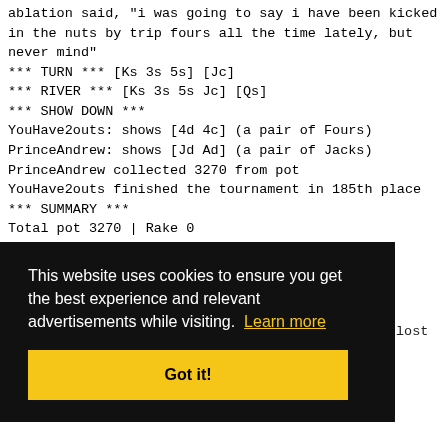ablation said, "i was going to say i have been kicked in the nuts by trip fours all the time lately, but never mind"
*** TURN *** [Ks 3s 5s] [Jc]
*** RIVER *** [Ks 3s 5s Jc] [Qs]
*** SHOW DOWN ***
YouHave2outs: shows [4d 4c] (a pair of Fours)
PrinceAndrew: shows [Jd Ad] (a pair of Jacks)
PrinceAndrew collected 3270 from pot
YouHave2outs finished the tournament in 185th place
*** SUMMARY ***
Total pot 3270 | Rake 0
Board [Ks 3s 5s Jc Qs]
Seat 1: ablation folded before Flop (didn't bet)
This website uses cookies to ensure you get the best experience and relevant advertisements while visiting. Learn more
Got it!
lost